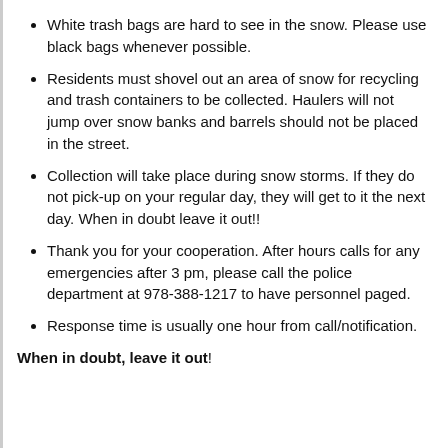White trash bags are hard to see in the snow. Please use black bags whenever possible.
Residents must shovel out an area of snow for recycling and trash containers to be collected. Haulers will not jump over snow banks and barrels should not be placed in the street.
Collection will take place during snow storms. If they do not pick-up on your regular day, they will get to it the next day. When in doubt leave it out!!
Thank you for your cooperation. After hours calls for any emergencies after 3 pm, please call the police department at 978-388-1217 to have personnel paged.
Response time is usually one hour from call/notification.
When in doubt, leave it out!